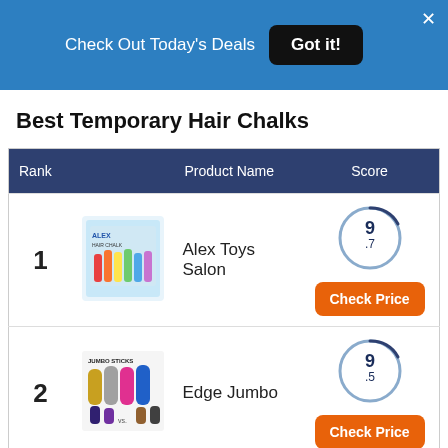Check Out Today's Deals  Got it!
Best Temporary Hair Chalks
| Rank | Product Name | Score |
| --- | --- | --- |
| 1 | Alex Toys Salon | 9.7 |
| 2 | Edge Jumbo | 9.5 |